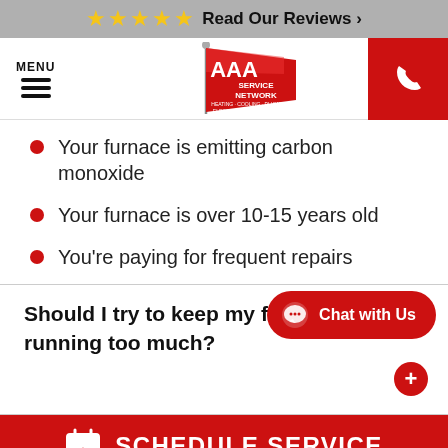★★★★★ Read Our Reviews >
[Figure (logo): AAA Service Network logo with red flag - Heating, Cooling, Plumbing, Electric, Appliance Repair]
Your furnace is emitting carbon monoxide
Your furnace is over 10-15 years old
You're paying for frequent repairs
Should I try to keep my furnace from running too much?
SCHEDULE SERVICE